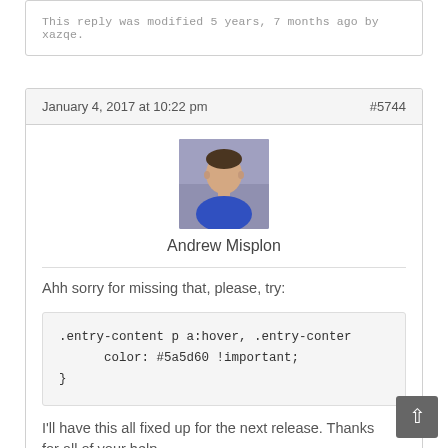This reply was modified 5 years, 7 months ago by xazqe.
January 4, 2017 at 10:22 pm   #5744
[Figure (photo): Avatar photo of Andrew Misplon, a man in a blue jacket]
Andrew Misplon
Ahh sorry for missing that, please, try:
I'll have this all fixed up for the next release. Thanks for all of your help.